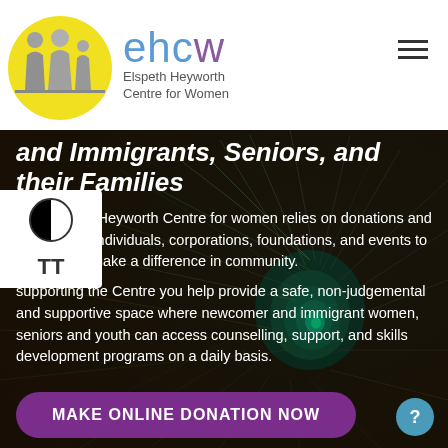[Figure (logo): EHCW logo with yellow circle containing silhouettes of women and children, beside 'ehcw' text in blue/purple and 'Elspeth Heyworth Centre for Women' subtitle]
and Immigrants, Seniors, and their Families
The Elspeth Heyworth Centre for women relies on donations and grants from individuals, corporations, foundations, and events to continue to make a difference in community.
supporting the Centre you help provide a safe, non-judgemental and supportive space where newcomer and immigrant women, seniors and youth can access counselling, support, and skills development programs on a daily basis.
MAKE ONLINE DONATION NOW